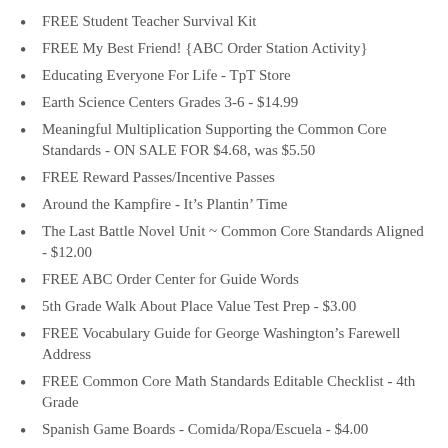FREE Student Teacher Survival Kit
FREE My Best Friend! {ABC Order Station Activity}
Educating Everyone For Life - TpT Store
Earth Science Centers Grades 3-6 - $14.99
Meaningful Multiplication Supporting the Common Core Standards - ON SALE FOR $4.68, was $5.50
FREE Reward Passes/Incentive Passes
Around the Kampfire - It's Plantin' Time
The Last Battle Novel Unit ~ Common Core Standards Aligned - $12.00
FREE ABC Order Center for Guide Words
5th Grade Walk About Place Value Test Prep - $3.00
FREE Vocabulary Guide for George Washington's Farewell Address
FREE Common Core Math Standards Editable Checklist - 4th Grade
Spanish Game Boards - Comida/Ropa/Escuela - $4.00
Third Grade Science Bundle - $19.00
FREE Common Core Estimation Poster
Poetry Linky Party